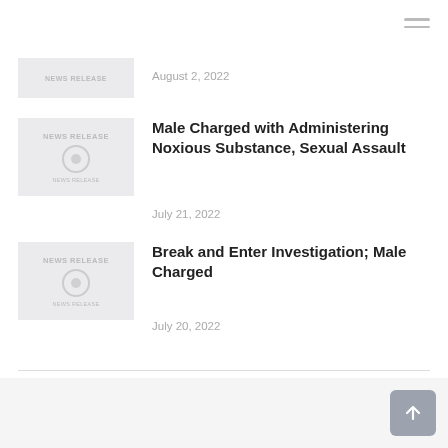[Figure (screenshot): Hamburger menu icon (three horizontal lines) in top right corner]
[Figure (photo): Partially visible news release thumbnail image at top]
August 2, 2022
[Figure (photo): News release thumbnail with text NEWS RELEASE and circular icon]
Male Charged with Administering Noxious Substance, Sexual Assault
July 21, 2022
[Figure (photo): News release thumbnail with text NEWS RELEASE and circular icon]
Break and Enter Investigation; Male Charged
July 20, 2022